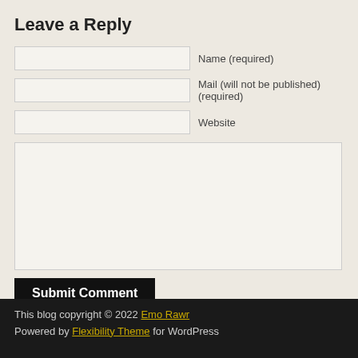Leave a Reply
Name (required)
Mail (will not be published) (required)
Website
Submit Comment
This blog copyright © 2022 Emo Rawr
Powered by Flexibility Theme for WordPress